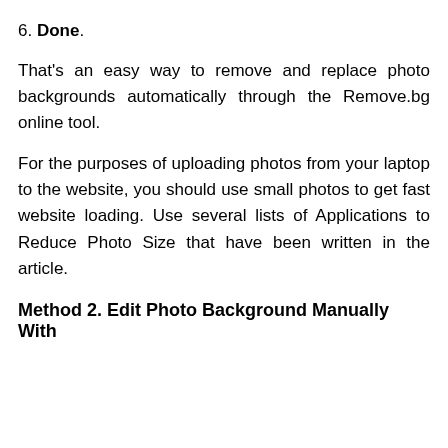6. Done.
That's an easy way to remove and replace photo backgrounds automatically through the Remove.bg online tool.
For the purposes of uploading photos from your laptop to the website, you should use small photos to get fast website loading. Use several lists of Applications to Reduce Photo Size that have been written in the article.
Method 2. Edit Photo Background Manually With